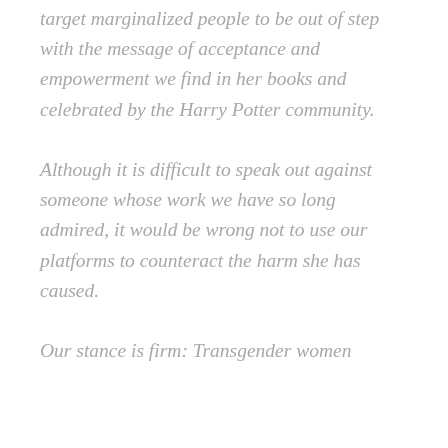target marginalized people to be out of step with the message of acceptance and empowerment we find in her books and celebrated by the Harry Potter community.
Although it is difficult to speak out against someone whose work we have so long admired, it would be wrong not to use our platforms to counteract the harm she has caused.
Our stance is firm: Transgender women